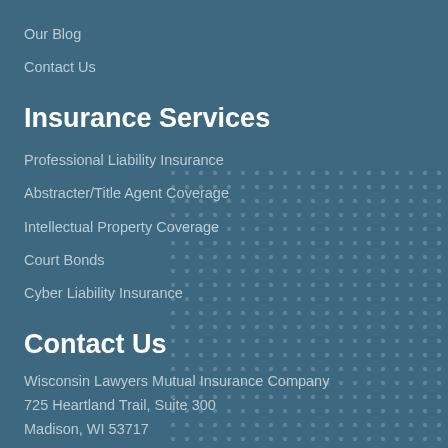Our Blog
Contact Us
Insurance Services
Professional Liability Insurance
Abstracter/Title Agent Coverage
Intellectual Property Coverage
Court Bonds
Cyber Liability Insurance
Contact Us
Wisconsin Lawyers Mutual Insurance Company
725 Heartland Trail, Suite 300
Madison, WI 53717
Toll-Free: (800) 373-3839